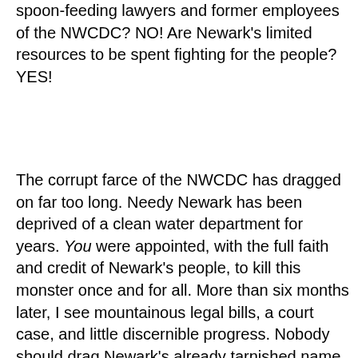spoon-feeding lawyers and former employees of the NWCDC? NO! Are Newark's limited resources to be spent fighting for the people? YES!
The corrupt farce of the NWCDC has dragged on far too long. Needy Newark has been deprived of a clean water department for years. You were appointed, with the full faith and credit of Newark's people, to kill this monster once and for all. More than six months later, I see mountainous legal bills, a court case, and little discernible progress. Nobody should drag Newark's already tarnished name through the mud again.
The next time I walk by the Newark Library, I would like to see it open to all people at all hours. The next time I walk by City Hall, I would like to be rest assured that this city has a clean